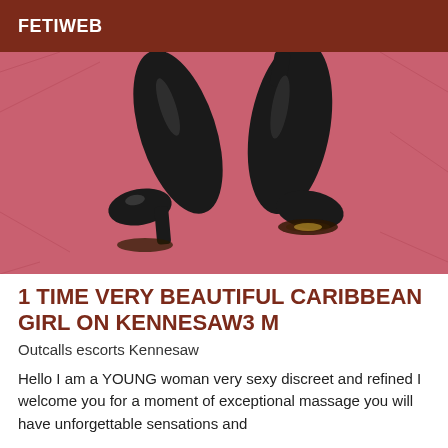FETIWEB
[Figure (photo): Photo of black high heel boots on a pink/red textured fabric background]
1 TIME VERY BEAUTIFUL CARIBBEAN GIRL ON KENNESAW3 M
Outcalls escorts Kennesaw
Hello I am a YOUNG woman very sexy discreet and refined I welcome you for a moment of exceptional massage you will have unforgettable sensations and